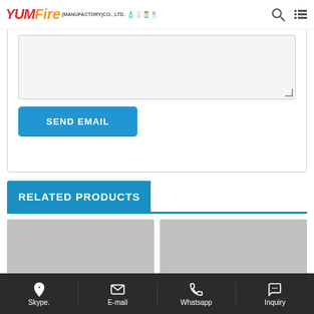YUM Fire (MANUFACTORY)CO., LTD.
[Figure (screenshot): Textarea input field with resize handle, light gray background, bordered]
SEND EMAIL
RELATED PRODUCTS
[Figure (photo): Two gray placeholder product thumbnail images side by side]
Skype. | E-mail | Whatsapp | Inquiry